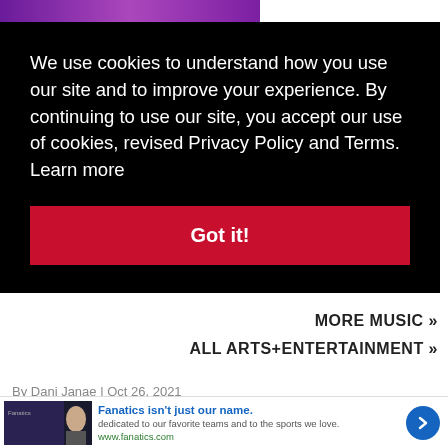[Figure (photo): Purple banner/image strip at the top of the page]
We use cookies to understand how you use our site and to improve your experience. By continuing to use our site, you accept our use of cookies, revised Privacy Policy and Terms.  Learn more
Got it!
By Dani Janae | Oct 26, 2021
MORE MUSIC »
ALL ARTS+ENTERTAINMENT »
[Figure (screenshot): Advertisement banner: Fanatics isn't just our name. dedicated to our favorite teams and to the sports we love. www.fanatics.com]